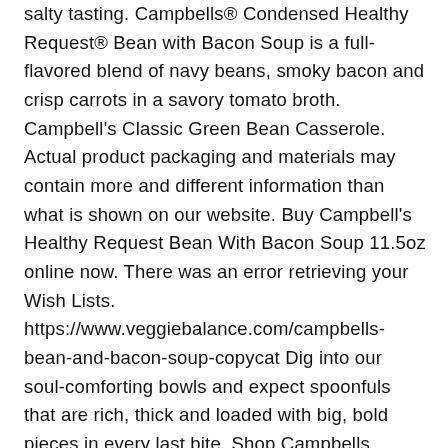salty tasting. Campbells® Condensed Healthy Request® Bean with Bacon Soup is a full-flavored blend of navy beans, smoky bacon and crisp carrots in a savory tomato broth. Campbell's Classic Green Bean Casserole. Actual product packaging and materials may contain more and different information than what is shown on our website. Buy Campbell's Healthy Request Bean With Bacon Soup 11.5oz online now. There was an error retrieving your Wish Lists. https://www.veggiebalance.com/campbells-bean-and-bacon-soup-copycat Dig into our soul-comforting bowls and expect spoonfuls that are rich, thick and loaded with big, bold pieces in every last bite. Shop Campbells Healthy Request Soup Condensed Bean with Bacon - 11.5 Oz from Randalls. Serve the grilled cheese dipped in the bowl, on the side or even on top as a topper. Bring a Smile to Your Spoonful. No artificial